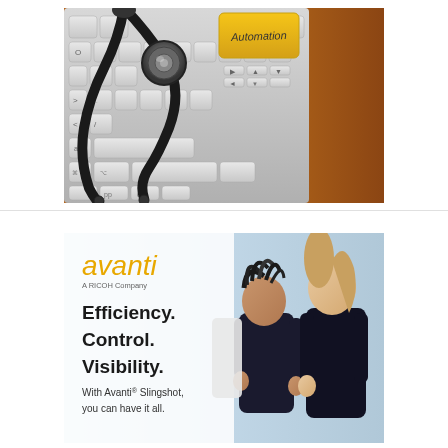[Figure (photo): Photo of a stethoscope resting on a computer keyboard with a yellow 'Automation' key highlighted]
[Figure (illustration): Avanti (A RICOH Company) advertisement showing two people and text: 'Efficiency. Control. Visibility. With Avanti® Slingshot, you can have it all.']